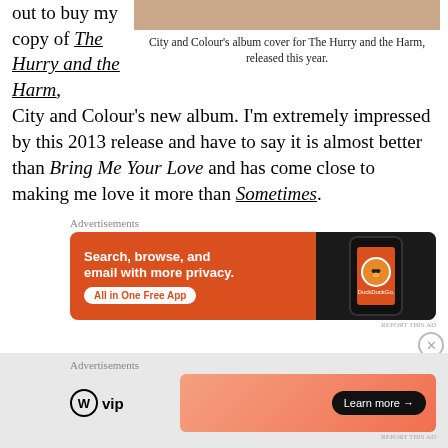out to buy my copy of The Hurry and the Harm, City and Colour's new album. I'm extremely impressed by this 2013 release and have to say it is almost better than Bring Me Your Love and has come close to making me love it more than Sometimes.
[Figure (photo): City and Colour album cover top portion (cropped)]
City and Colour's album cover for The Hurry and the Harm, released this year.
[Figure (other): DuckDuckGo advertisement: Search, browse, and email with more privacy. All in One Free App.]
[Figure (other): WordPress VIP advertisement with Learn more button]